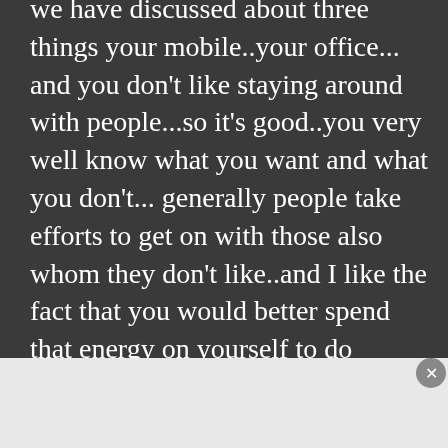we have discussed about three things your mobile..your office... and you don't like staying around with people...so it's good..you very well know what you want and what you don't... generally people take efforts to get on with those also whom they don't like..and I like the fact that you would better spend that energy on yourself to do something better..or for your own benefit..as to if you say that you are slightly undecided
[Figure (screenshot): DuckDuckGo advertisement banner with orange-red left section reading 'Search, browse, and email with more privacy. All in One Free App' and dark right section with DuckDuckGo logo]